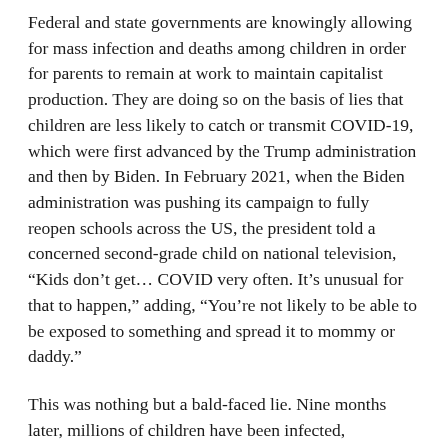Federal and state governments are knowingly allowing for mass infection and deaths among children in order for parents to remain at work to maintain capitalist production. They are doing so on the basis of lies that children are less likely to catch or transmit COVID-19, which were first advanced by the Trump administration and then by Biden. In February 2021, when the Biden administration was pushing its campaign to fully reopen schools across the US, the president told a concerned second-grade child on national television, “Kids don’t get… COVID very often. It’s unusual for that to happen,” adding, “You’re not likely to be able to be exposed to something and spread it to mommy or daddy.”
This was nothing but a bald-faced lie. Nine months later, millions of children have been infected, potentially hundreds of thousands are currently experiencing Long COVID, and hundreds have died in the US.